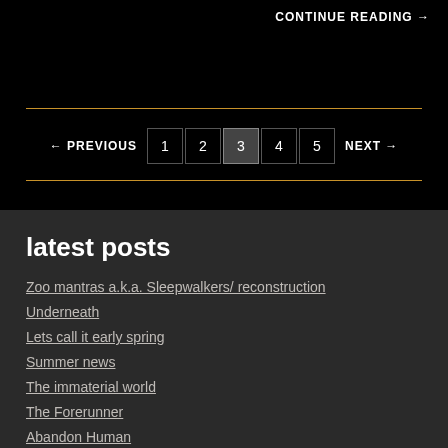CONTINUE READING →
← PREVIOUS  1  2  3  4  5  NEXT →
latest posts
Zoo mantras a.k.a. Sleepwalkers/ reconstruction
Underneath
Lets call it early spring
Summer news
The immaterial world
The Forerunner
Abandon Human
The Duo now